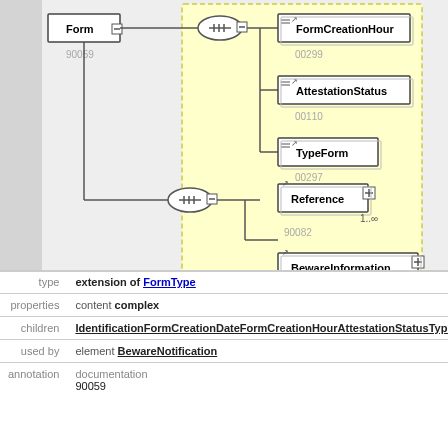[Figure (engineering-diagram): XML/UML schema diagram showing Form node connected via sequence connector (ellipse) to FormCreationHour, AttestationStatus, TypeForm (in yellow dashed box, numbered 90059, 00299, 00110, 00297), and further connected via another sequence ellipse to Reference (1..inf, 90082) and BewareInformation (90352).]
| type | extension of FormType |
| properties | content complex |
| children | IdentificationFormCreationDateFormCreationHourAttestationStatusTypeFormRe |
| used by | element BewareNotification |
| annotation | documentation
90059 |